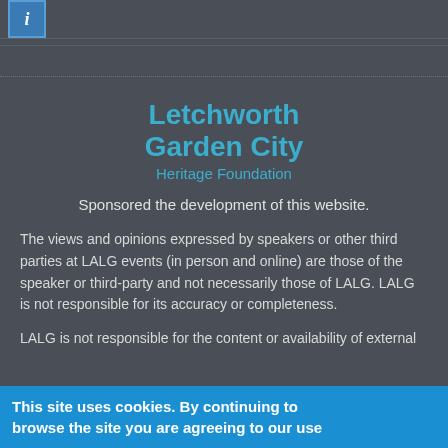[Figure (logo): Blue square logo with italic letter i, representing a social/info icon]
Letchworth Garden City
Heritage Foundation
Sponsored the development of this website.
The views and opinions expressed by speakers or other third parties at LALG events (in person and online) are those of the speaker or third-party and not necessarily those of LALG. LALG is not responsible for its accuracy or completeness.
LALG is not responsible for the content or availability of external
This site uses cookies. By continuing to browse the site you are agreeing to our use